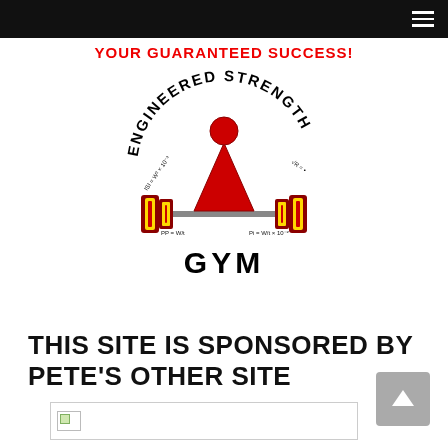Navigation bar with hamburger menu
[Figure (logo): Engineered Strength Gym logo: circular text reading ENGINEERED STRENGTH around a red weightlifter figure holding a barbell, with GYM below. Engineering formulas shown around the logo.]
YOUR GUARANTEED SUCCESS!
THIS SITE IS SPONSORED BY PETE'S OTHER SITE
[Figure (other): Broken image placeholder at bottom of page]